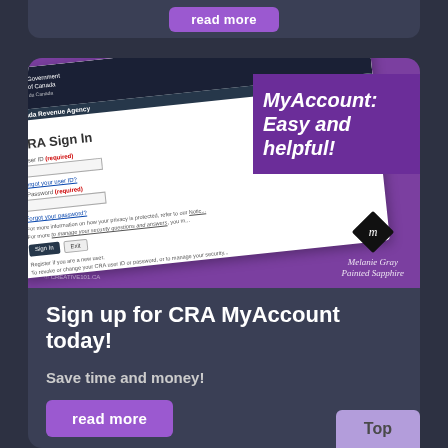[Figure (screenshot): CRA MyAccount sign-in page screenshot on purple background with 'MyAccount: Easy and helpful!' banner]
Sign up for CRA MyAccount today!
Save time and money!
read more
Top